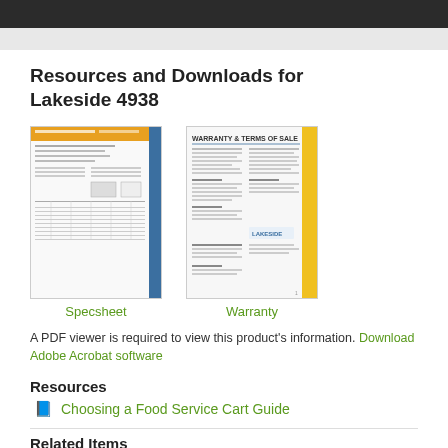Resources and Downloads for Lakeside 4938
[Figure (screenshot): Thumbnail image of a specsheet document for Lakeside 4938 with orange header and blue sidebar]
Specsheet
[Figure (screenshot): Thumbnail image of a Warranty & Terms of Sale document with yellow sidebar and Lakeside logo]
Warranty
A PDF viewer is required to view this product's information. Download Adobe Acrobat software
Resources
Choosing a Food Service Cart Guide
Related Items